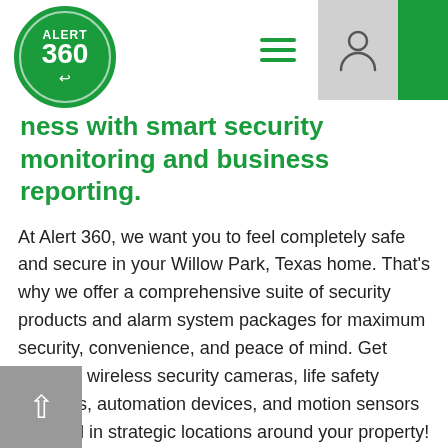[Figure (logo): Alert 360 green circular logo with white text]
…ness with smart security monitoring and business reporting.
At Alert 360, we want you to feel completely safe and secure in your Willow Park, Texas home. That's why we offer a comprehensive suite of security products and alarm system packages for maximum security, convenience, and peace of mind. Get wired or wireless security cameras, life safety products, automation devices, and motion sensors installed in strategic locations around your property! Then, with Alert 360's convenient app, you can arm or disarm your total system at any time from anywhere.
Just as concerned about what your kids are doing inside your home as what's going on outside? We've got you covered with our indoor WiFi…